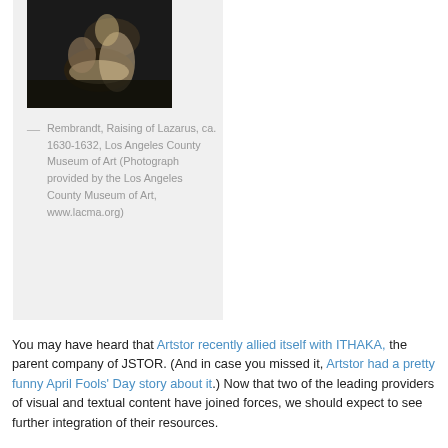[Figure (photo): Dark painting, Rembrandt style, showing figures in a biblical scene (Raising of Lazarus)]
— Rembrandt, Raising of Lazarus, ca. 1630-1632, Los Angeles County Museum of Art (Photograph provided by the Los Angeles County Museum of Art, www.lacma.org)
You may have heard that Artstor recently allied itself with ITHAKA, the parent company of JSTOR. (And in case you missed it, Artstor had a pretty funny April Fools' Day story about it.) Now that two of the leading providers of visual and textual content have joined forces, we should expect to see further integration of their resources.